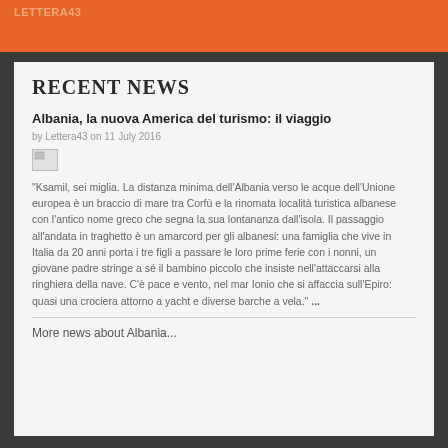LETTERA43
RECENT NEWS
Albania, la nuova America del turismo: il viaggio
by Lettera43 on 11 July 2016
[Figure (photo): Broken image placeholder]
"Ksamil, sei miglia. La distanza minima dell'Albania verso le acque dell'Unione europea è un braccio di mare tra Corfù e la rinomata località turistica albanese con l'antico nome greco che segna la sua lontananza dall'isola. Il passaggio all'andata in traghetto è un amarcord per gli albanesi: una famiglia che vive in Italia da 20 anni porta i tre figli a passare le loro prime ferie con i nonni, un giovane padre stringe a sé il bambino piccolo che insiste nell'attaccarsi alla ringhiera della nave. C'è pace e vento, nel mar Ionio che si affaccia sull'Epiro: quasi una crociera attorno a yacht e diverse barche a vela." ...
More news about Albania...